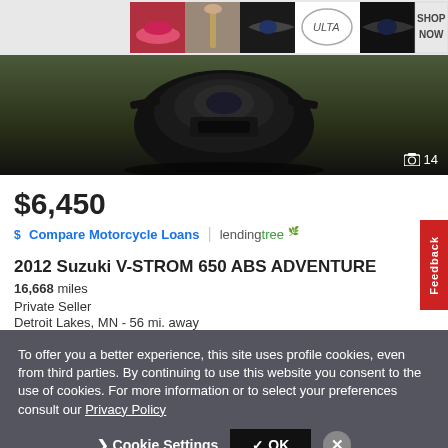[Figure (photo): ULTA Beauty advertisement banner with makeup/cosmetic imagery and 'SHOP NOW' text]
[Figure (photo): Front view of a motorcycle (black helmet/fairing) with photo counter showing camera icon and '14']
$6,450
$ Compare Motorcycle Loans | lendingtree
2012 Suzuki V-STROM 650 ABS ADVENTURE
16,668 miles
Private Seller
Detroit Lakes, MN - 56 mi. away
Feedback
To offer you a better experience, this site uses profile cookies, even from third parties. By continuing to use this website you consent to the use of cookies. For more information or to select your preferences consult our Privacy Policy
Cookie Settings  ✓ OK  ✕